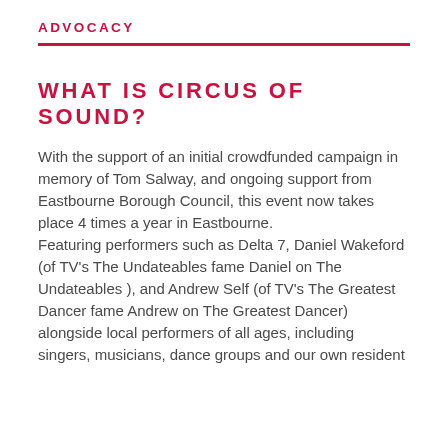ADVOCACY
WHAT IS CIRCUS OF SOUND?
With the support of an initial crowdfunded campaign in memory of Tom Salway, and ongoing support from Eastbourne Borough Council, this event now takes place 4 times a year in Eastbourne.
Featuring performers such as Delta 7, Daniel Wakeford (of TV's The Undateables fame Daniel on The Undateables ), and Andrew Self (of TV's The Greatest Dancer fame Andrew on The Greatest Dancer) alongside local performers of all ages, including singers, musicians, dance groups and our own resident